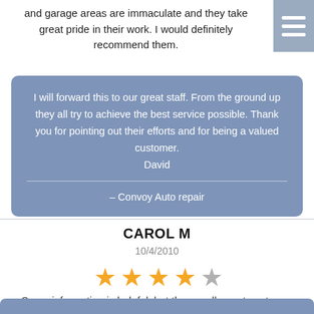and garage areas are immaculate and they take great pride in their work. I would definitely recommend them.
[Figure (other): Hamburger menu icon with three horizontal white lines on a gray-blue background]
I will forward this to our great staff. From the ground up they all try to achieve the best service possible. Thank you for pointing out their efforts and for being a valued customer. David
– Convoy Auto repair
CAROL M
10/4/2010
[Figure (other): 4 out of 5 star rating with 4 gold stars and 1 gray star]
Some information is helpful, but the upsells are too strong.